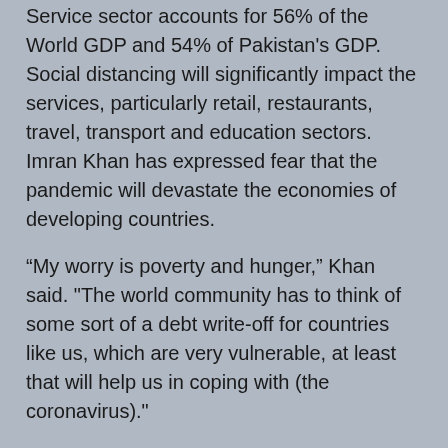Service sector accounts for 56% of the World GDP and 54% of Pakistan's GDP. Social distancing will significantly impact the services, particularly retail, restaurants, travel, transport and education sectors. Imran Khan has expressed fear that the pandemic will devastate the economies of developing countries.
“My worry is poverty and hunger,” Khan said. "The world community has to think of some sort of a debt write-off for countries like us, which are very vulnerable, at least that will help us in coping with (the coronavirus)."
Summary:
Pakistan is among only six countries in the world that have taken the steps they need to evaluate their ability to withstand a global pandemic, according to a 2017 report sponsored by the World Bank. The current hotspot is in southern Sindh province where the provincial government is taking the lead in fighting its spread by shutting schools, closing restaurants and shopping malls and banning large gatherings. The federal government has closed Pakistan's